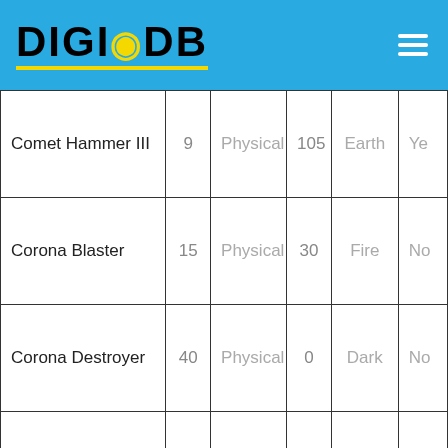DIGI DB
| Name | Level | Type | Value | Element | Available |
| --- | --- | --- | --- | --- | --- |
| Comet Hammer III | 9 | Physical | 105 | Earth | Ye |
| Corona Blaster | 15 | Physical | 30 | Fire | No |
| Corona Destroyer | 40 | Physical | 0 | Dark | No |
|  |  |  |  |  |  |